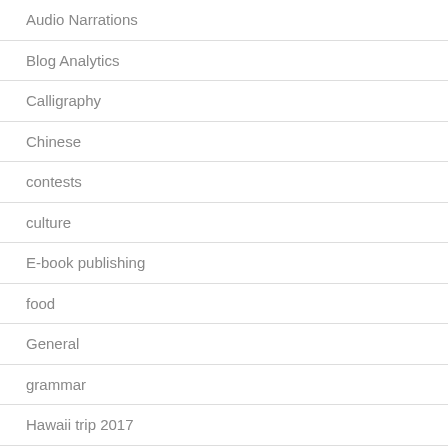Audio Narrations
Blog Analytics
Calligraphy
Chinese
contests
culture
E-book publishing
food
General
grammar
Hawaii trip 2017
Interviews
Japan trip 2018
Japanese Study: Advanced